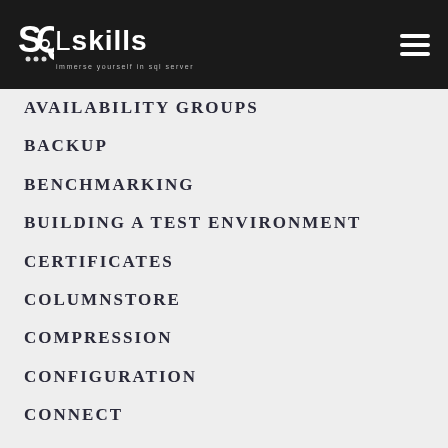SQLskills - Immerse yourself in SQL Server
AVAILABILITY GROUPS
BACKUP
BENCHMARKING
BUILDING A TEST ENVIRONMENT
CERTIFICATES
COLUMNSTORE
COMPRESSION
CONFIGURATION
CONNECT
DATABASE ADMINISTRATION
DEADLOCK
DISTRIBUTED REPLAY